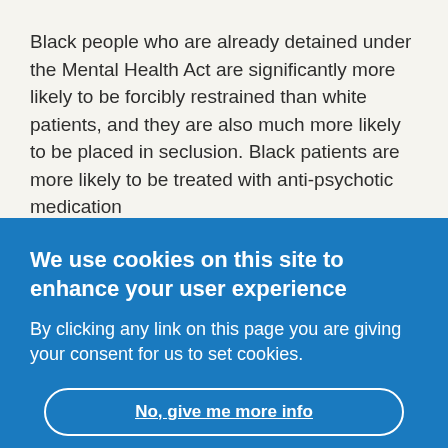Black people who are already detained under the Mental Health Act are significantly more likely to be forcibly restrained than white patients, and they are also much more likely to be placed in seclusion. Black patients are more likely to be treated with anti-psychotic medication
We use cookies on this site to enhance your user experience
By clicking any link on this page you are giving your consent for us to set cookies.
No, give me more info
OK, I agree